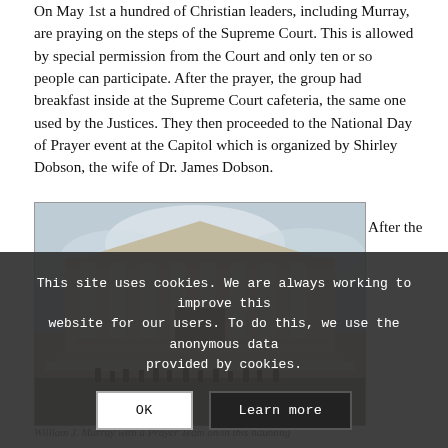On May 1st a hundred of Christian leaders, including Murray, are praying on the steps of the Supreme Court. This is allowed by special permission from the Court and only ten or so people can participate. After the prayer, the group had breakfast inside at the Supreme Court cafeteria, the same one used by the Justices. They then proceeded to the National Day of Prayer event at the Capitol which is organized by Shirley Dobson, the wife of Dr. James Dobson.
[Figure (photo): Photo of the United States Supreme Court building facade with columns, taken from a low angle with an overcast sky. Below the building entrance, a group of people can be seen.]
After the
William J. Murray with a Prayer Team on/in this haunting
This site uses cookies. We are always working to improve this website for our users. To do this, we use the anonymous data provided by cookies.